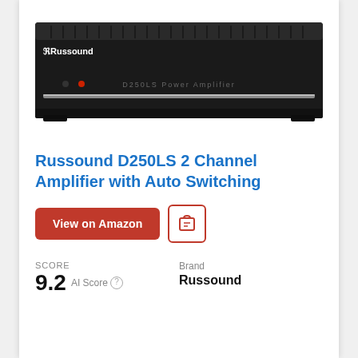[Figure (photo): Russound D250LS Power Amplifier — a black rack-mounted audio amplifier with ventilation slots on top, Russound logo top-left, red LED indicator, and 'D250LS Power Amplifier' text on the front panel]
Russound D250LS 2 Channel Amplifier with Auto Switching
View on Amazon [button] [icon button]
SCORE
9.2  AI Score ℹ
Brand
Russound